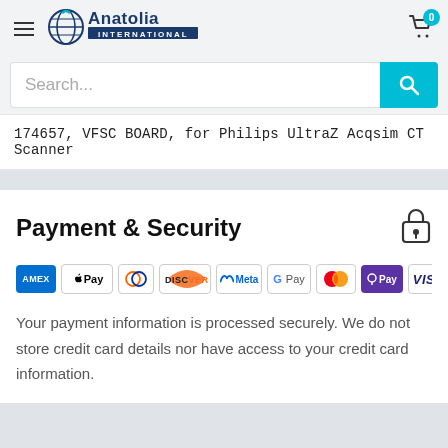[Figure (logo): Anatolia International logo with circular globe icon]
Search...
174657, VFSC BOARD, for Philips UltraZ Acqsim CT Scanner
Payment & Security
[Figure (infographic): Payment method icons: AMEX, Apple Pay, Diners Club, Discover, Meta Pay, Google Pay, Mastercard, OPay, VISA]
Your payment information is processed securely. We do not store credit card details nor have access to your credit card information.